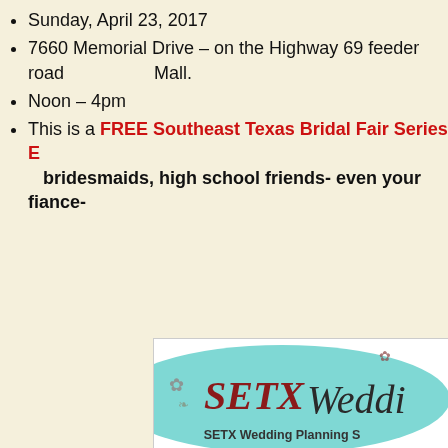Sunday, April 23, 2017
7660 Memorial Drive – on the Highway 69 feeder road Mall.
Noon – 4pm
This is a FREE Southeast Texas Bridal Fair Series E bridesmaids, high school friends- even your fiance-
[Figure (logo): SETX Wedding Planning logo with teal oval background, script text reading 'Southeast Texas Bri...' and 'Sunday, Apri...' below]